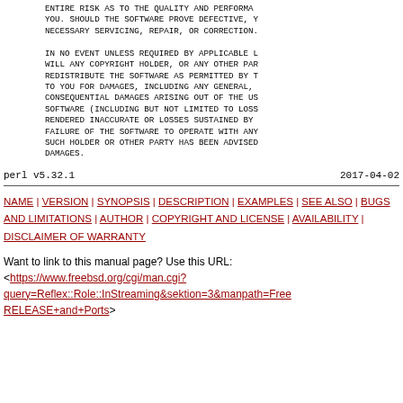ENTIRE RISK AS TO THE QUALITY AND PERFORMANCE OF THE SOFTWARE IS WITH YOU. SHOULD THE SOFTWARE PROVE DEFECTIVE, YOU ASSUME THE COST OF ALL NECESSARY SERVICING, REPAIR, OR CORRECTION.

IN NO EVENT UNLESS REQUIRED BY APPLICABLE LAW OR AGREED TO IN WRITING WILL ANY COPYRIGHT HOLDER, OR ANY OTHER PARTY WHO MAY MODIFY AND/OR REDISTRIBUTE THE SOFTWARE AS PERMITTED BY THE ABOVE LICENCE, BE LIABLE TO YOU FOR DAMAGES, INCLUDING ANY GENERAL, SPECIAL, INCIDENTAL, OR CONSEQUENTIAL DAMAGES ARISING OUT OF THE USE OR INABILITY TO USE THE SOFTWARE (INCLUDING BUT NOT LIMITED TO LOSS OF DATA OR DATA BEING RENDERED INACCURATE OR LOSSES SUSTAINED BY YOU OR THIRD PARTIES OR A FAILURE OF THE SOFTWARE TO OPERATE WITH ANY OTHER SOFTWARE), EVEN IF SUCH HOLDER OR OTHER PARTY HAS BEEN ADVISED OF THE POSSIBILITY OF SUCH DAMAGES.
perl v5.32.1                                    2017-04-02
NAME | VERSION | SYNOPSIS | DESCRIPTION | EXAMPLES | SEE ALSO | BUGS AND LIMITATIONS | AUTHOR | COPYRIGHT AND LICENSE | AVAILABILITY | DISCLAIMER OF WARRANTY
Want to link to this manual page? Use this URL:
<https://www.freebsd.org/cgi/man.cgi?query=Reflex::Role::InStreaming&sektion=3&manpath=FreeBSD+12-RELEASE+and+Ports>